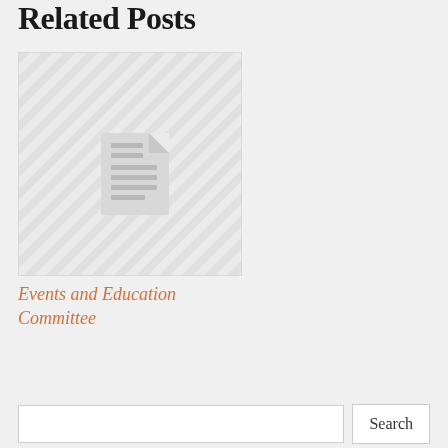Related Posts
[Figure (illustration): Placeholder thumbnail image with diagonal stripe pattern and a document/file icon in the center]
Events and Education Committee
Search